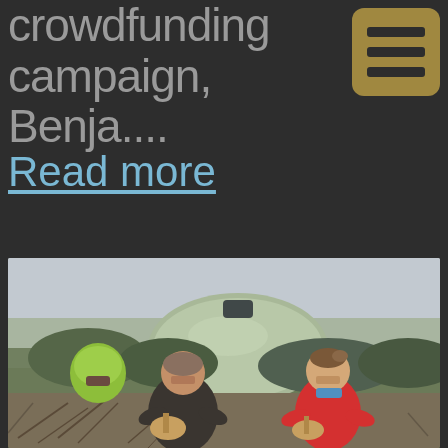crowdfunding campaign, Benja....
Read more
[Figure (photo): Two people sitting and laughing in front of a green tent in a grassy/sandy area. A person on the left is playing a ukulele and wearing a dark shirt. A person on the right is wearing a red shirt. A green/yellow helmet-like object is visible on the left side.]